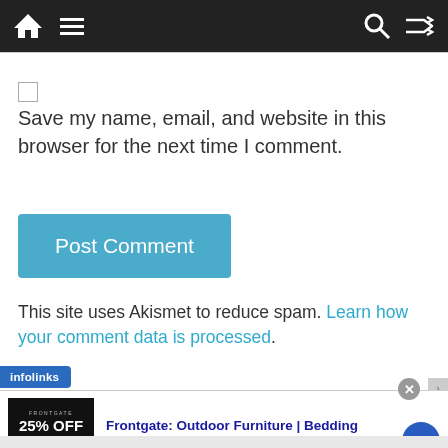Navigation bar with home, menu, search, and shuffle icons
Save my name, email, and website in this browser for the next time I comment.
Post Comment
This site uses Akismet to reduce spam. Learn how your comment data is processed.
[Figure (screenshot): Advertisement banner: Frontgate: Outdoor Furniture | Bedding. 25% off site wide sale going on now at Frontgate.com. frontgate.com]
infolinks